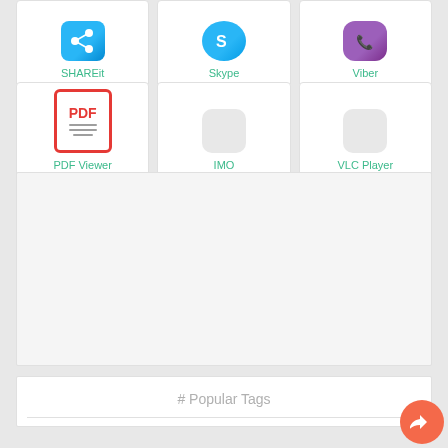[Figure (screenshot): App grid row showing SHAREit, Skype, and Viber app icons with green labels]
[Figure (screenshot): App grid row showing PDF Viewer (with red PDF icon), IMO, and VLC Player app icons]
[Figure (screenshot): Large white advertisement placeholder box]
# Popular Tags
[Figure (illustration): Orange circular share/forward button in bottom right corner]